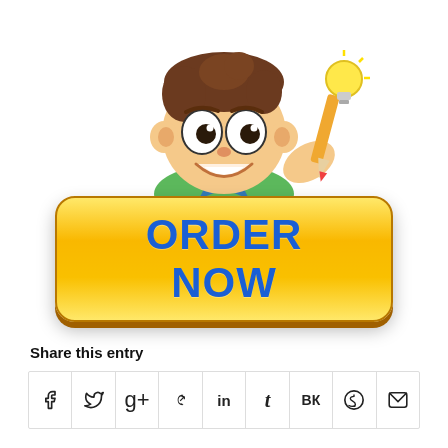[Figure (illustration): Cartoon boy character holding a pencil with a light bulb, peeking over an ORDER NOW yellow button]
Share this entry
[Figure (infographic): Social share icons row: Facebook, Twitter, Google+, Pinterest, LinkedIn, Tumblr, VK, Reddit, Email]